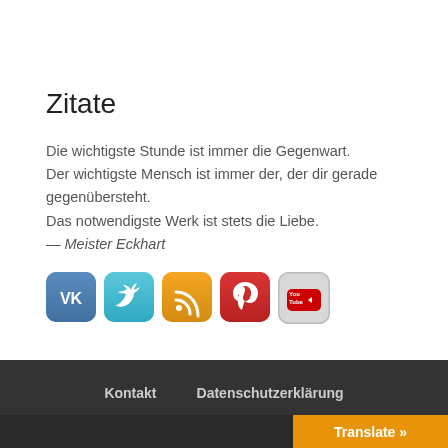Zitate
Die wichtigste Stunde ist immer die Gegenwart. Der wichtigste Mensch ist immer der, der dir gerade gegenübersteht. Das notwendigste Werk ist stets die Liebe.
— Meister Eckhart
[Figure (other): Row of five social media icon buttons: VK (blue), Twitter (teal), RSS (orange), Pinterest (red), YouTube (gray)]
Kontakt   Datenschutzerklärung   Translate »